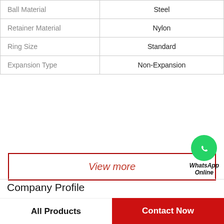| Property | Value |
| --- | --- |
| Ball Material | Steel |
| Retainer Material | Nylon |
| Ring Size | Standard |
| Expansion Type | Non-Expansion |
[Figure (other): WhatsApp Online contact badge with green phone icon circle]
View more
Company Profile
RAA Bearing Trading Co., Ltd.
Phone  55-32-3-543-62-00
All Products   Contact Now